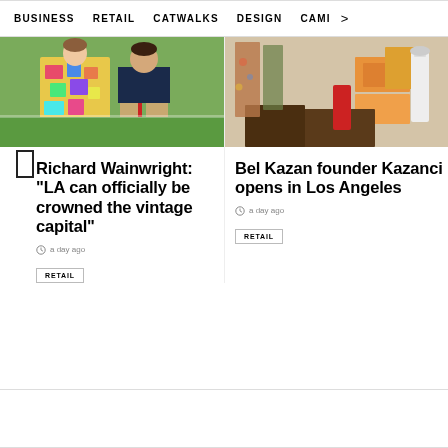BUSINESS   RETAIL   CATWALKS   DESIGN   CAMI  >
[Figure (photo): Two people standing on grass, one wearing a colorful patchwork dress, other in khaki pants and navy shirt]
Richard Wainwright: "LA can officially be crowned the vintage capital"
a day ago
RETAIL
[Figure (photo): Store interior with clothing and boxes, partially visible, retail setting]
Bel Kazan founder Kazanci opens in Los Angeles
a day ago
RETAIL